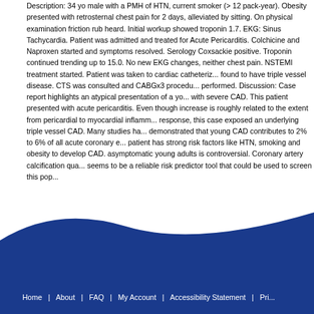Description: 34 yo male with a PMH of HTN, current smoker (> 12 pack-year). Obesity presented with retrosternal chest pain for 2 days, alleviated by sitting. On physical examination friction rub heard. Initial workup showed troponin 1.7. EKG: Sinus Tachycardia. Patient was admitted and treated for Acute Pericarditis. Colchicine and Naproxen started and symptoms resolved. Serology Coxsackie positive. Troponin continued trending up to 15.0. No new EKG changes, neither chest pain. NSTEMI treatment started. Patient was taken to cardiac catheterization found to have triple vessel disease. CTS was consulted and CABGx3 procedure performed. Discussion: Case report highlights an atypical presentation of a young with severe CAD. This patient presented with acute pericarditis. Even though increase is roughly related to the extent from pericardial to myocardial inflammation response, this case exposed an underlying triple vessel CAD. Many studies have demonstrated that young CAD contributes to 2% to 6% of all acute coronary events patient has strong risk factors like HTN, smoking and obesity to develop CAD. asymptomatic young adults is controversial. Coronary artery calcification quantification seems to be a reliable risk predictor tool that could be used to screen this population.
Home  |  About  |  FAQ  |  My Account  |  Accessibility Statement  |  Pri...